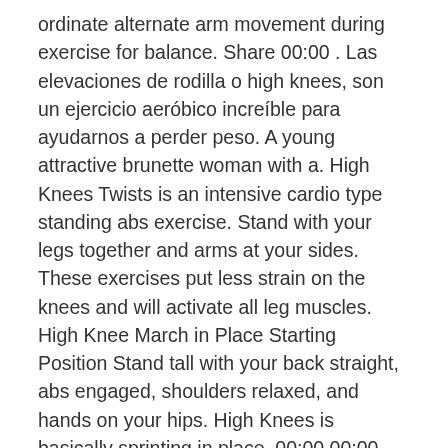ordinate alternate arm movement during exercise for balance. Share 00:00 . Las elevaciones de rodilla o high knees, son un ejercicio aeróbico increíble para ayudarnos a perder peso. A young attractive brunette woman with a. High Knees Twists is an intensive cardio type standing abs exercise. Stand with your legs together and arms at your sides. These exercises put less strain on the knees and will activate all leg muscles. High Knee March in Place Starting Position Stand tall with your back straight, abs engaged, shoulders relaxed, and hands on your hips. High Knees is basically sprinting in place. 00:00 00:00 . About Us. high knees jump rope is a calisthenics, cardiovascular, plyometrics, and total body exercise that primarily targets the calves and to a lesser degree also targets the abs, biceps, chest, forearms, glutes, hamstrings, hip flexors, quads, shoulders and triceps. How to do high knees step by step: Begin in the standing position; Raise and lower one knee at a time as if running in place. Special Instructions Master the Basic March in Place before trying this intermediate exercise. Add variations to make this exercise harder. It is often performed for reps or time as part